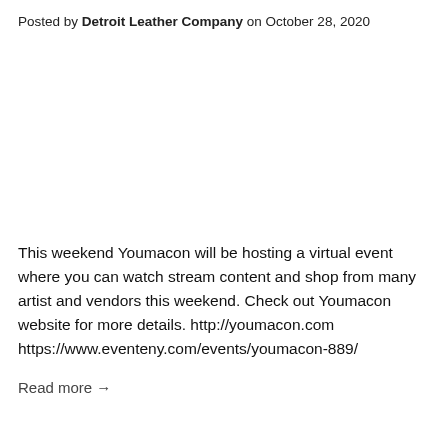Posted by Detroit Leather Company on October 28, 2020
This weekend Youmacon will be hosting a virtual event where you can watch stream content and shop from many artist and vendors this weekend. Check out Youmacon website for more details. http://youmacon.com https://www.eventeny.com/events/youmacon-889/
Read more →